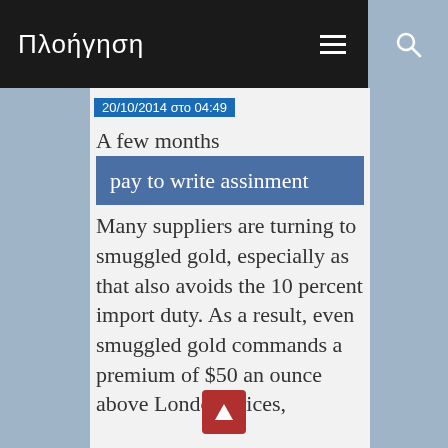Πλοήγηση
20/10/2014 στο 04:49
A few months
pay to write assinment
Many suppliers are turning to smuggled gold, especially as that also avoids the 10 percent import duty. As a result, even smuggled gold commands a premium of $50 an ounce above London prices,